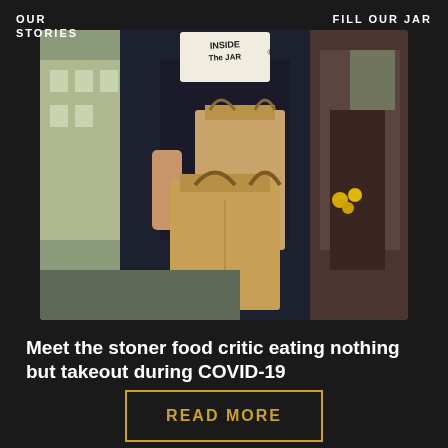OUR STORIES
FILL OUR JAR
[Figure (photo): A person in a black t-shirt carrying kraft paper takeout bags on a city street, with an 'Inside the Jar' logo sign visible at top center. Restaurant storefront visible in background.]
Meet the stoner food critic eating nothing but takeout during COVID-19
READ MORE